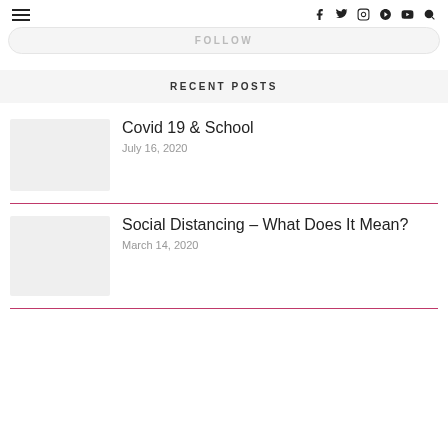≡  f  twitter  instagram  pinterest  youtube  search
FOLLOW
RECENT POSTS
Covid 19 & School
July 16, 2020
Social Distancing – What Does It Mean?
March 14, 2020